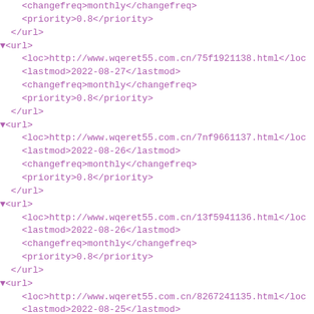<changefreq>monthly</changefreq>
    <priority>0.8</priority>
  </url>
▼<url>
    <loc>http://www.wqeret55.com.cn/75f1921138.html</loc>
    <lastmod>2022-08-27</lastmod>
    <changefreq>monthly</changefreq>
    <priority>0.8</priority>
  </url>
▼<url>
    <loc>http://www.wqeret55.com.cn/7nf9661137.html</loc>
    <lastmod>2022-08-26</lastmod>
    <changefreq>monthly</changefreq>
    <priority>0.8</priority>
  </url>
▼<url>
    <loc>http://www.wqeret55.com.cn/13f5941136.html</loc>
    <lastmod>2022-08-26</lastmod>
    <changefreq>monthly</changefreq>
    <priority>0.8</priority>
  </url>
▼<url>
    <loc>http://www.wqeret55.com.cn/8267241135.html</loc>
    <lastmod>2022-08-25</lastmod>
    <changefreq>monthly</changefreq>
    <priority>0.8</priority>
  </url>
▼<url>
    <loc>http://www.wqeret55.com.cn/1m98521134.html</loc>
    <lastmod>2022-08-25</lastmod>